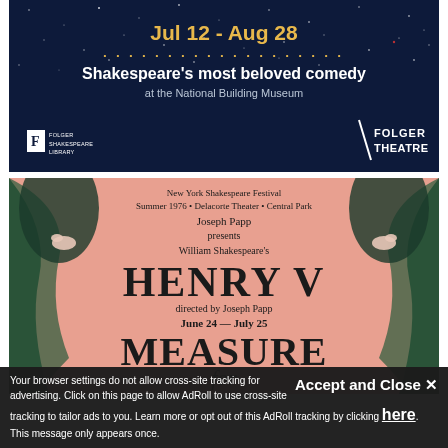[Figure (illustration): Folger Theatre advertisement banner on dark navy starry background. Shows 'Jul 12 - Aug 28' in gold text, 'Shakespeare's most beloved comedy' in white bold text, 'at the National Building Museum' in light text, with Folger Shakespeare Library and Folger Theatre logos at bottom.]
[Figure (photo): New York Shakespeare Festival program/poster for Summer 1976 at Delacorte Theater, Central Park. Joseph Papp presents William Shakespeare's Henry V directed by Joseph Papp, June 24 - July 25. Also shows start of 'Measure for Measure' text. Pink/salmon background with Art Nouveau arch decorations on sides.]
Accept and Close ✕ Your browser settings do not allow cross-site tracking for advertising. Click on this page to allow AdRoll to use cross-site tracking to tailor ads to you. Learn more or opt out of this AdRoll tracking by clicking here. This message only appears once.